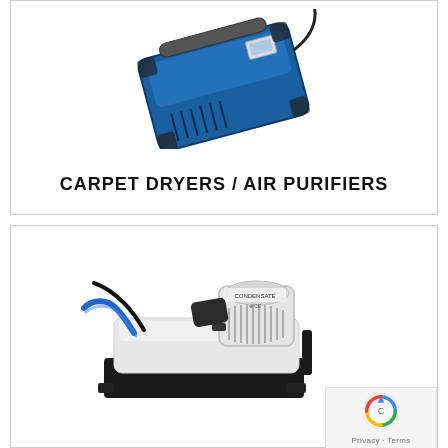[Figure (photo): Blue portable industrial equipment (carpet dryer / air purifier) with power cord, viewed from above at an angle]
CARPET DRYERS / AIR PURIFIERS
[Figure (photo): White condensate pump / submersible pump with blue tubing and black base, viewed from the side]